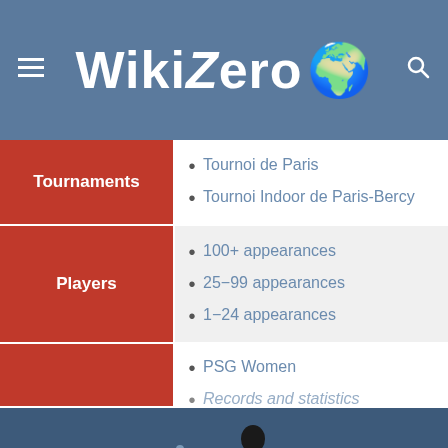WikiZero
| Category | Items |
| --- | --- |
| Tournaments | Tournoi de Paris; Tournoi Indoor de Paris-Bercy |
| Players | 100+ appearances; 25-99 appearances; 1-24 appearances |
| (partial) | PSG Women; Records and statistics |
Tournoi de Paris
Tournoi Indoor de Paris-Bercy
100+ appearances
25−99 appearances
1−24 appearances
PSG Women
Records and statistics
EN